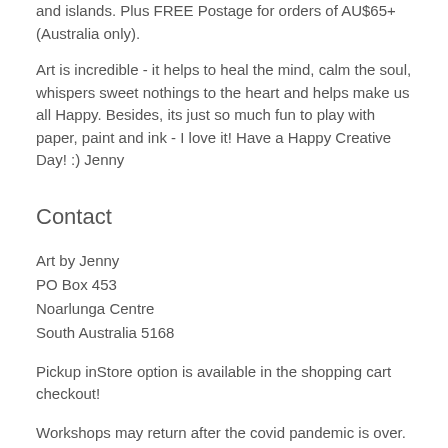and islands. Plus FREE Postage for orders of AU$65+ (Australia only).
Art is incredible - it helps to heal the mind, calm the soul, whispers sweet nothings to the heart and helps make us all Happy. Besides, its just so much fun to play with paper, paint and ink - I love it! Have a Happy Creative Day! :) Jenny
Contact
Art by Jenny
PO Box 453
Noarlunga Centre
South Australia 5168
Pickup inStore option is available in the shopping cart checkout!
Workshops may return after the covid pandemic is over. Email or phone for details.
Stay safe, keep smiling and be crafty!